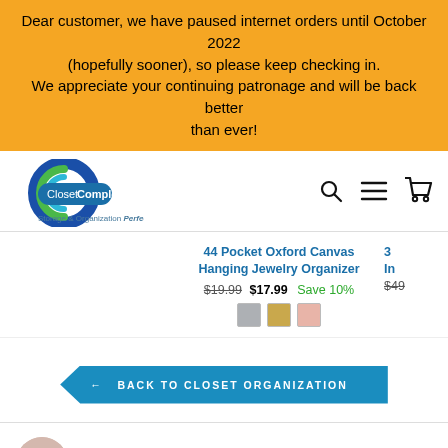Dear customer, we have paused internet orders until October 2022 (hopefully sooner), so please keep checking in. We appreciate your continuing patronage and will be back better than ever!
[Figure (logo): ClosetComplete logo with blue/teal C icon and tagline 'Storage & Organization Perfected']
[Figure (screenshot): Navigation icons: search, hamburger menu, shopping cart]
44 Pocket Oxford Canvas Hanging Jewelry Organizer $19.99 $17.99 Save 10%
3 In... $49...
← BACK TO CLOSET ORGANIZATION
cutenlittle
Dallas, Texas